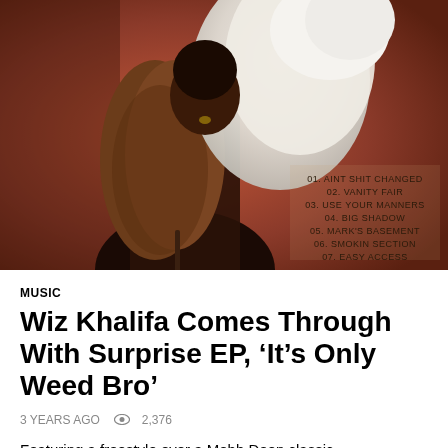[Figure (photo): Album cover photo showing Wiz Khalifa in a fur coat against an orange/red background, with a white fur element. Tracklist text visible in lower right: 01. AINT SHIT CHANGED, 02. VANITY FAIR, 03. USE YOUR MANNERS, 04. BIG SHADOW, 05. MARK'S BASEMENT, 06. SMOKIN SECTION, 07. EASY ACCESS]
MUSIC
Wiz Khalifa Comes Through With Surprise EP, ‘It’s Only Weed Bro’
3 YEARS AGO  👁 2,376
Featuring a freestyle over a Mobb Deep classic.